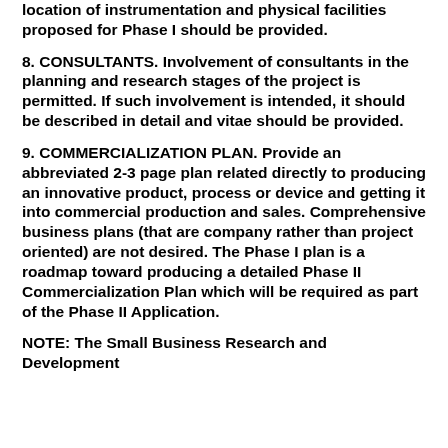location of instrumentation and physical facilities proposed for Phase I should be provided.
8. CONSULTANTS. Involvement of consultants in the planning and research stages of the project is permitted. If such involvement is intended, it should be described in detail and vitae should be provided.
9. COMMERCIALIZATION PLAN. Provide an abbreviated 2-3 page plan related directly to producing an innovative product, process or device and getting it into commercial production and sales. Comprehensive business plans (that are company rather than project oriented) are not desired. The Phase I plan is a roadmap toward producing a detailed Phase II Commercialization Plan which will be required as part of the Phase II Application.
NOTE: The Small Business Research and Development